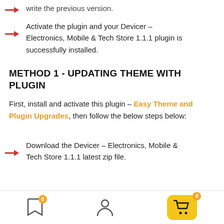Just click Install button and new Version will over write the previous version.
Activate the plugin and your Devicer – Electronics, Mobile & Tech Store 1.1.1 plugin is successfully installed.
METHOD 1 - UPDATING THEME WITH PLUGIN
First, install and activate this plugin – Easy Theme and Plugin Upgrades, then follow the below steps below:
Download the Devicer – Electronics, Mobile & Tech Store 1.1.1 latest zip file.